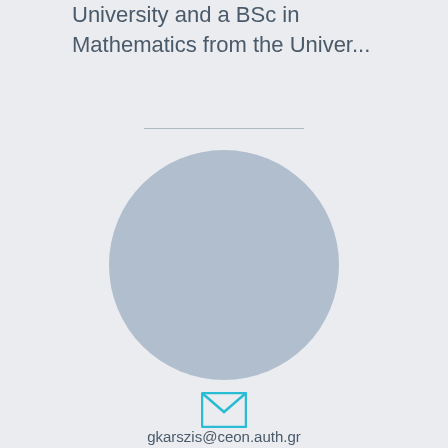University and a BSc in Mathematics from the Univer...
[Figure (photo): Circular profile photo placeholder — large light blue-grey circle]
[Figure (other): Email/envelope icon in cyan/teal outline style]
gkarszis@ceon.auth.gr